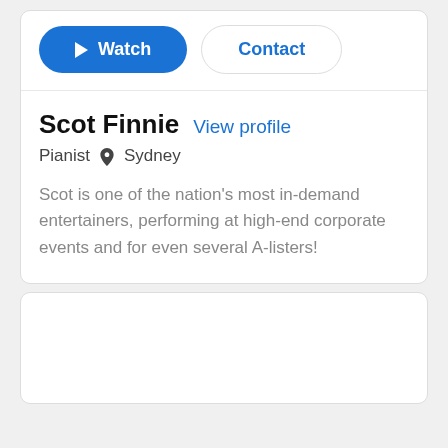[Figure (screenshot): Watch button (blue pill-shaped) and Contact button (white pill-shaped with border)]
Scot Finnie  View profile
Pianist  Sydney
Scot is one of the nation's most in-demand entertainers, performing at high-end corporate events and for even several A-listers!